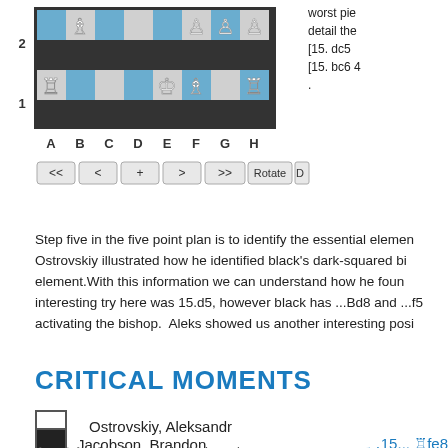[Figure (other): Chess board diagram showing position with pieces on ranks 1 and 2. White rook on a1, white bishop on b2, white king on e1, white bishop on f1, white rook on h1. White pawns on f2, g2, h2. Black king on e1 area. Navigation buttons: <<, <, +, >, >>, Rotate, Download.]
worst piece detail the [15. dc5 [15. bc6 4 .
Step five in the five point plan is to identify the essential element. Ostrovskiy illustrated how he identified black's dark-squared bishop as the essential element.With this information we can understand how he found 15.b5! An interesting try here was 15.d5, however black has ...Bd8 and ...f5 ideas, activating the bishop. Aleks showed us another interesting position
CRITICAL MOMENTS
Ostrovskiy, Aleksandr
Jacobson, Brandon
15... Rfe8
18... Nh2
Annotated by: Ostrovskiy, Aleksandr